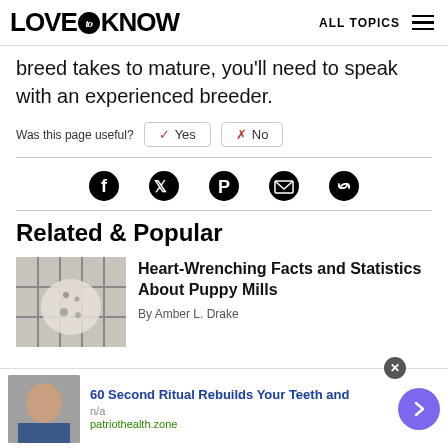LOVE to KNOW   ALL TOPICS
breed takes to mature, you'll need to speak with an experienced breeder.
Was this page useful?  ✓ Yes  ✗ No
[Figure (other): Social share icons: Facebook, Twitter, Pinterest, Email, Link]
Related & Popular
[Figure (photo): Photo of Dalmatian puppy behind cage bars]
Heart-Wrenching Facts and Statistics About Puppy Mills
By Amber L. Drake
60 Second Ritual Rebuilds Your Teeth and
n/a
patriothealth.zone